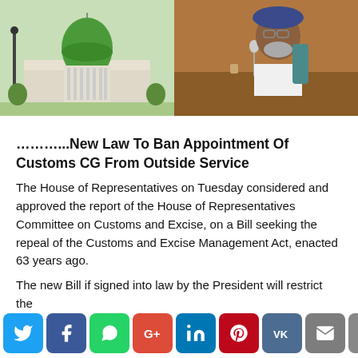[Figure (photo): Nigerian National Assembly building with green dome and statue in foreground]
[Figure (photo): Man in white agbada and blue cap sitting at a podium or desk in a legislative chamber]
………...New Law To Ban Appointment Of Customs CG From Outside Service
The House of Representatives on Tuesday considered and approved the report of the House of Representatives Committee on Customs and Excise, on a Bill seeking the repeal of the Customs and Excise Management Act, enacted 63 years ago.
The new Bill if signed into law by the President will restrict the